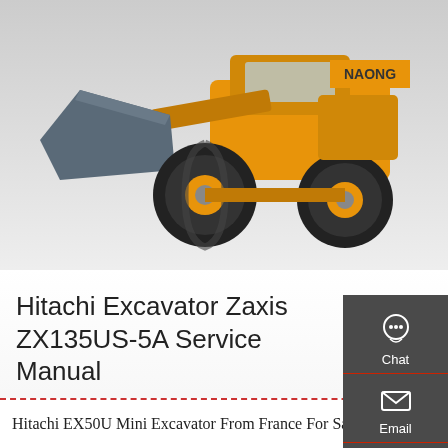[Figure (photo): Yellow wheel loader / front-end loader construction machine (NAONG brand) with gray bucket, photographed from the front-left angle against a light gray gradient background]
Hitachi Excavator Zaxis ZX135US-5A Service Manual
Hitachi Excavator Zaxis ZX135US-5A workshop service & repair manual, specifications, troubleshooting, performance tests, schematics
Get a quote
Hitachi EX50U Mini Excavator From France For Sale At